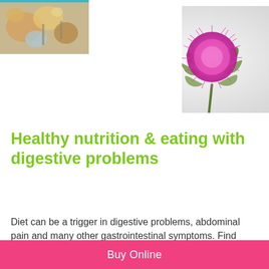[Figure (photo): Top banner with two photos: left shows food and dining items, right shows a purple thistle flower on a light background]
Healthy nutrition & eating with digestive problems
Diet can be a trigger in digestive problems, abdominal pain and many other gastrointestinal symptoms. Find
Buy Online